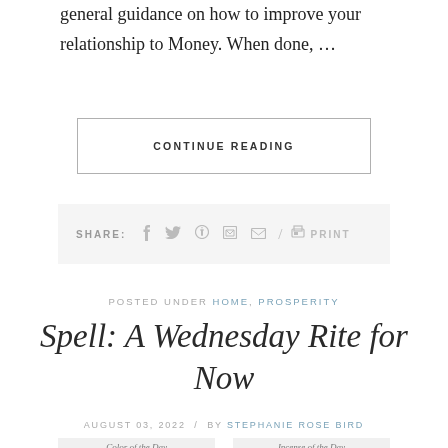general guidance on how to improve your relationship to Money. When done, …
CONTINUE READING
SHARE:  f  twitter  pinterest  linkedin  email  /  print  PRINT
POSTED UNDER HOME, PROSPERITY
Spell: A Wednesday Rite for Now
AUGUST 03, 2022  /  BY STEPHANIE ROSE BIRD
Color of the Day
Incense of the Day